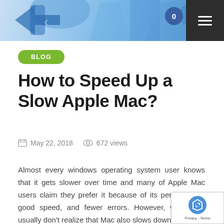[Figure (illustration): Blue and teal illustrated header image with cartoon-style graphic elements and geometric shapes on a blue gradient background]
BLOG
How to Speed Up a Slow Apple Mac?
May 22, 2018   672 views
Almost every windows operating system user knows that it gets slower over time and many of Apple Mac users claim they prefer it because of its performance, good speed, and fewer errors. However, what they usually don't realize that Mac also slows down with time, perhaps the more you use more you will realize its speed is going down. So although better at overall performance, Mac users will also face similar problems of operating system slow down. There are many ways